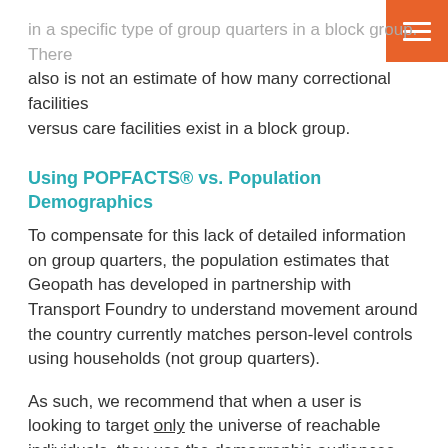in a specific type of group quarters in a block group. There also is not an estimate of how many correctional facilities versus care facilities exist in a block group.
Using POPFACTS® vs. Population Demographics
To compensate for this lack of detailed information on group quarters, the population estimates that Geopath has developed in partnership with Transport Foundry to understand movement around the country currently matches person-level controls using households (not group quarters).
As such, we recommend that when a user is looking to target only the universe of reachable individuals, they use the demographic audiences available in the Population